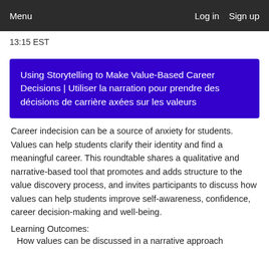Menu   Log in   Sign up
13:15 EST
Using Storytelling to Make Value-Based Career Decisions | Utiliser la narration pour prendre des décisions de carrière axées sur les valeurs
Career indecision can be a source of anxiety for students. Values can help students clarify their identity and find a meaningful career. This roundtable shares a qualitative and narrative-based tool that promotes and adds structure to the value discovery process, and invites participants to discuss how values can help students improve self-awareness, confidence, career decision-making and well-being.
Learning Outcomes:
How values can be discussed in a narrative approach